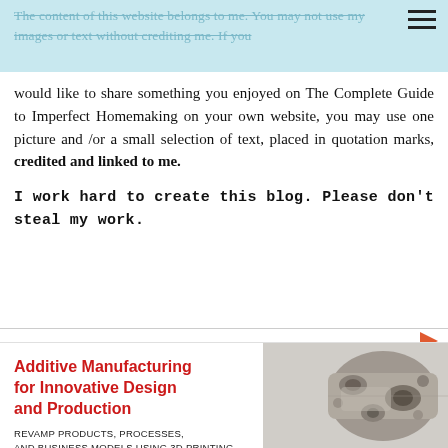The content of this website belongs to me. You may not use my images or text without crediting me. If you would like to share something you enjoyed on The Complete Guide to Imperfect Homemaking on your own website, you may use one picture and /or a small selection of text, placed in quotation marks, credited and linked to me.
I work hard to create this blog. Please don't steal my work.
[Figure (infographic): Advertisement for 'Additive Manufacturing for Innovative Design and Production' online course. Shows red bold text title, subtitle 'REVAMP PRODUCTS, PROCESSES, AND BUSINESS MODELS USING 3D PRINTING', '12-WEEK ONLINE COURSE', and a photo of a 3D printed metal mechanical part on the right.]